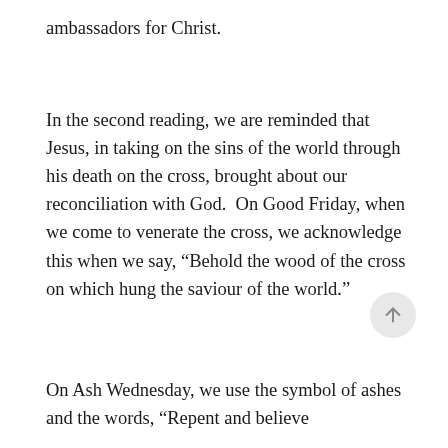ambassadors for Christ.
In the second reading, we are reminded that Jesus, in taking on the sins of the world through his death on the cross, brought about our reconciliation with God.  On Good Friday, when we come to venerate the cross, we acknowledge this when we say, “Behold the wood of the cross on which hung the saviour of the world.”
On Ash Wednesday, we use the symbol of ashes and the words, “Repent and believe